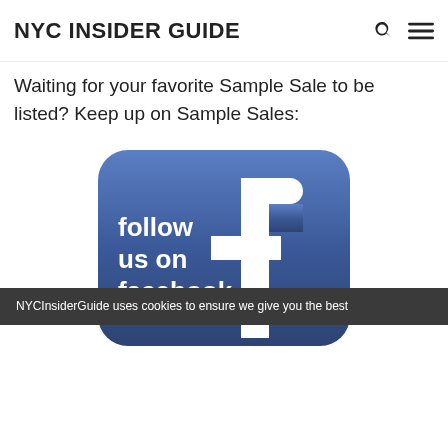NYC INSIDER GUIDE
Waiting for your favorite Sample Sale to be listed? Keep up on Sample Sales:
[Figure (illustration): Blue rounded square Facebook 'follow us on facebook' button with large white Facebook 'f' logo on the right side and white text 'follow us on facebook' on the left side.]
NYCInsiderGuide uses cookies to ensure we give you the best